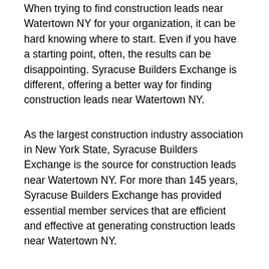When trying to find construction leads near Watertown NY for your organization, it can be hard knowing where to start. Even if you have a starting point, often, the results can be disappointing. Syracuse Builders Exchange is different, offering a better way for finding construction leads near Watertown NY.
As the largest construction industry association in New York State, Syracuse Builders Exchange is the source for construction leads near Watertown NY. For more than 145 years, Syracuse Builders Exchange has provided essential member services that are efficient and effective at generating construction leads near Watertown NY.
Becoming a member of Syracuse Builders Exchange enhances your organization's ability to acquire construction leads near Watertown NY. To